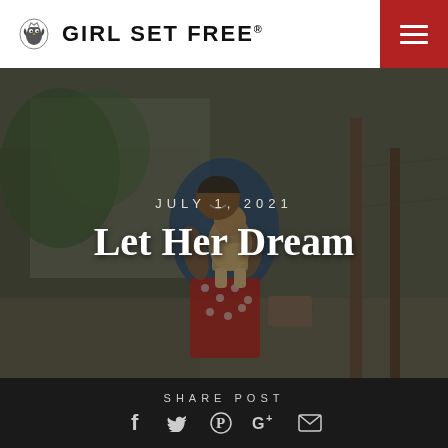GIRL SET FREE®
[Figure (photo): A smiling woman holding a baby/toddler outdoors in a village setting, with plants and wooden fence in the background. Dark overlay on the photo.]
JULY 1, 2021
Let Her Dream
SHARE POST
[Figure (illustration): Social sharing icons: Facebook, Twitter, Pinterest, Google+, Email]